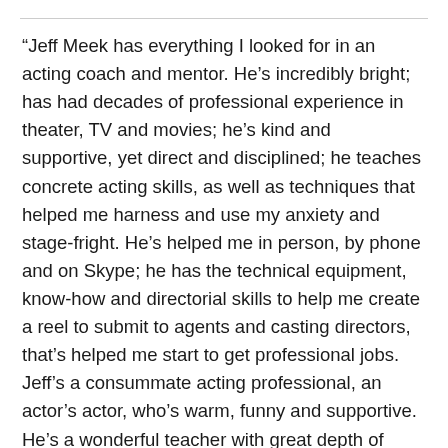“Jeff Meek has everything I looked for in an acting coach and mentor. He’s incredibly bright; has had decades of professional experience in theater, TV and movies; he’s kind and supportive, yet direct and disciplined; he teaches concrete acting skills, as well as techniques that helped me harness and use my anxiety and stage-fright. He’s helped me in person, by phone and on Skype; he has the technical equipment, know-how and directorial skills to help me create a reel to submit to agents and casting directors, that’s helped me start to get professional jobs. Jeff’s a consummate acting professional, an actor’s actor, who’s warm, funny and supportive. He’s a wonderful teacher with great depth of insight and understanding. I give him my highest recommendation.” – Andrew Thomas, Skype student